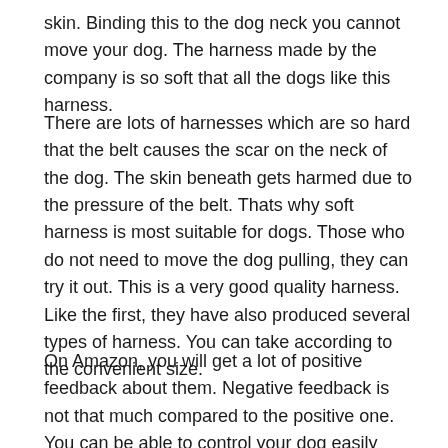skin. Binding this to the dog neck you cannot move your dog. The harness made by the company is so soft that all the dogs like this harness.
There are lots of harnesses which are so hard that the belt causes the scar on the neck of the dog. The skin beneath gets harmed due to the pressure of the belt. Thats why soft harness is most suitable for dogs. Those who do not need to move the dog pulling, they can try it out. This is a very good quality harness. Like the first, they have also produced several types of harness. You can take according to the convenient size.
On Amazon, you will get a lot of positive feedback about them. Negative feedback is not that much compared to the positive one. You can be able to control your dog easily using this harness. If you have a German shepherd then you